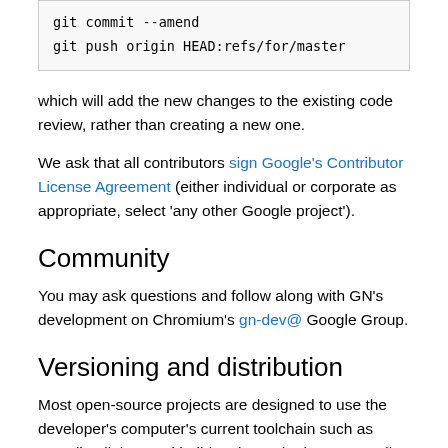git commit --amend
git push origin HEAD:refs/for/master
which will add the new changes to the existing code review, rather than creating a new one.
We ask that all contributors sign Google's Contributor License Agreement (either individual or corporate as appropriate, select 'any other Google project').
Community
You may ask questions and follow along with GN's development on Chromium's gn-dev@ Google Group.
Versioning and distribution
Most open-source projects are designed to use the developer's computer's current toolchain such as compiler, linker, and build tool. But the large centrally controlled projects that GN is designed for typically want a more hermetic